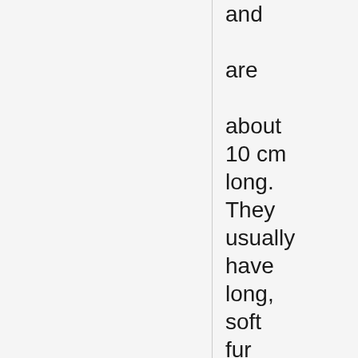and are about 10 cm long. They usually have long, soft fur and very short tails. They